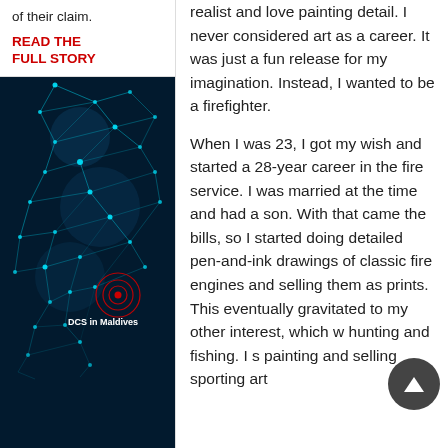of their claim.
READ THE FULL STORY
[Figure (map): Dark blue network/polygon map showing Africa continent with glowing teal connecting lines and nodes. A red target/bullseye circle marks a location labeled 'DCS in Maldives' in white text.]
realist and love painting detail. I never considered art as a career. It was just a fun release for my imagination. Instead, I wanted to be a firefighter.
When I was 23, I got my wish and started a 28-year career in the fire service. I was married at the time and had a son. With that came the bills, so I started doing detailed pen-and-ink drawings of classic fire engines and selling them as prints. This eventually gravitated to my other interest, which w hunting and fishing. I s painting and selling sporting art